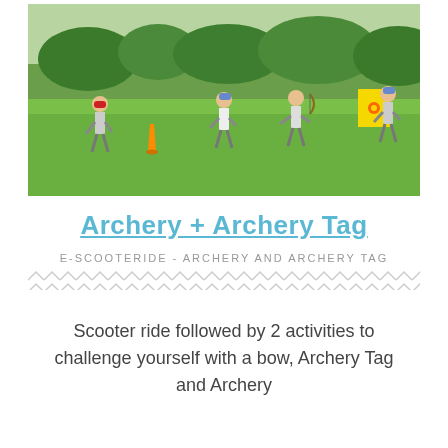[Figure (photo): Outdoor archery tag activity photo showing people playing on a grass field with orange cones and yellow targets, trees in background]
Archery + Archery Tag
E-SCOOTERIDE - ARCHERY AND ARCHERY TAG
Scooter ride followed by 2 activities to challenge yourself with a bow, Archery Tag and Archery